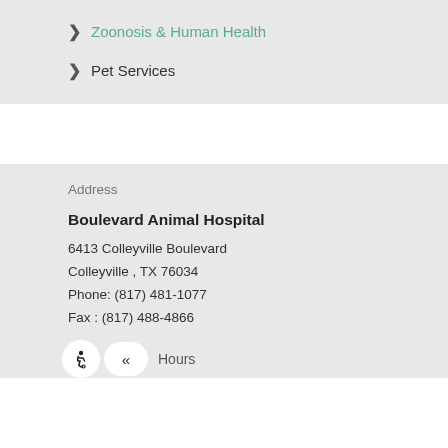> Zoonosis & Human Health
> Pet Services
Address
Boulevard Animal Hospital
6413 Colleyville Boulevard
Colleyville , TX 76034
Phone: (817) 481-1077
Fax : (817) 488-4866
Hours